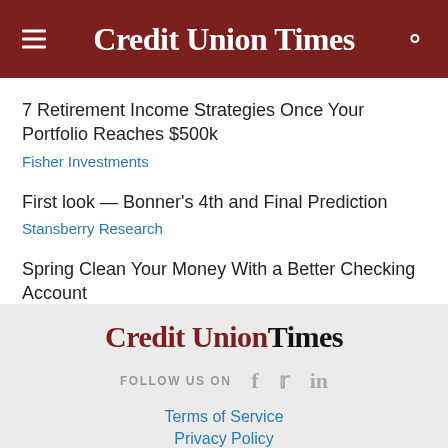Credit Union Times
7 Retirement Income Strategies Once Your Portfolio Reaches $500k
Fisher Investments
First look — Bonner's 4th and Final Prediction
Stansberry Research
Spring Clean Your Money With a Better Checking Account
Credit Union Times
FOLLOW US ON
Terms of Service
Privacy Policy